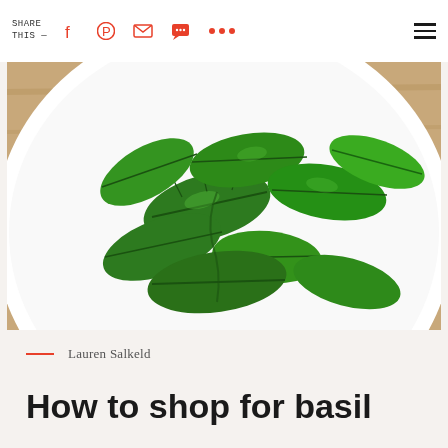SHARE THIS —
[Figure (photo): Overhead photo of fresh green basil leaves arranged on a white plate, placed on a light wooden surface]
Lauren Salkeld
How to shop for basil